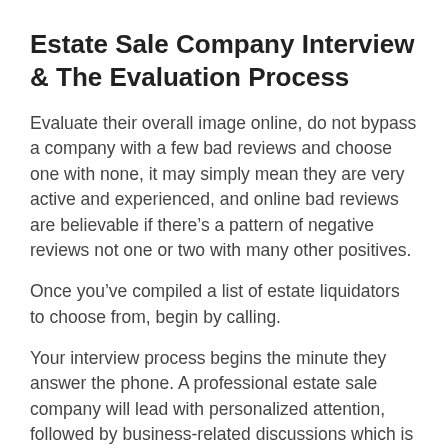Estate Sale Company Interview & The Evaluation Process
Evaluate their overall image online, do not bypass a company with a few bad reviews and choose one with none, it may simply mean they are very active and experienced, and online bad reviews are believable if there’s a pattern of negative reviews not one or two with many other positives.
Once you’ve compiled a list of estate liquidators to choose from, begin by calling.
Your interview process begins the minute they answer the phone. A professional estate sale company will lead with personalized attention, followed by business-related discussions which is something less experienced estate sale